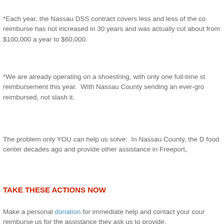*Each year, the Nassau DSS contract covers less and less of the cost to reimburse has not increased in 30 years and was actually cut about from $100,000 a year to $60,000.
*We are already operating on a shoestring, with only one full-time staff reimbursement this year.  With Nassau County sending an ever-growing reimbursed, not slash it.
The problem only YOU can help us solve:  In Nassau County, the D food center decades ago and provide other assistance in Freeport,
TAKE THESE ACTIONS NOW
Make a personal donation for immediate help and contact your county legislator to reimburse us for the assistance they ask us to provide.
Nassau County Legislature Presiding Officer Richard J. Nicolello
Nassau County Legislature